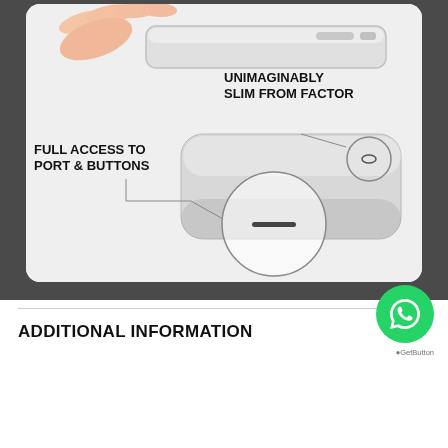[Figure (photo): Product promotional image of a slim phone case on a white/light gray background. Shows a hand holding a slim phone at the top with the label 'UNIMAGINABLY SLIM FROM FACTOR', and a zoomed-in diagram of the bottom edge and side port area with the label 'FULL ACCESS TO PORT & BUTTONS'. The case is silver/gray colored.]
[Figure (logo): WhatsApp chat button (green circle with white WhatsApp phone icon) from GetButton service, with 'GetButton' label below]
ADDITIONAL INFORMATION